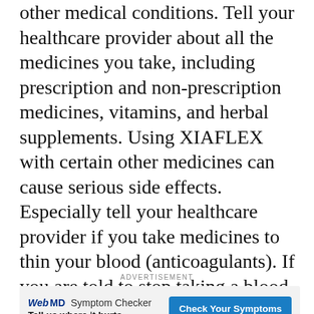other medical conditions. Tell your healthcare provider about all the medicines you take, including prescription and non-prescription medicines, vitamins, and herbal supplements. Using XIAFLEX with certain other medicines can cause serious side effects. Especially tell your healthcare provider if you take medicines to thin your blood (anticoagulants). If you are told to stop taking a blood thinner before your XIAFLEX injection, your healthcare provider should tell you when to restart the blood thinner. Ask your healthcare provider or pharmacist for a list of these medicines if you are unsure.
ADVERTISEMENT
[Figure (other): WebMD Symptom Checker advertisement banner with text 'Tell us where it hurts.' and a blue 'Check Your Symptoms' button]